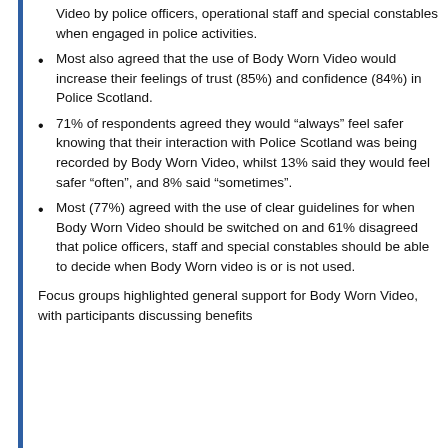Video by police officers, operational staff and special constables when engaged in police activities.
Most also agreed that the use of Body Worn Video would increase their feelings of trust (85%) and confidence (84%) in Police Scotland.
71% of respondents agreed they would “always” feel safer knowing that their interaction with Police Scotland was being recorded by Body Worn Video, whilst 13% said they would feel safer “often”, and 8% said “sometimes”.
Most (77%) agreed with the use of clear guidelines for when Body Worn Video should be switched on and 61% disagreed that police officers, staff and special constables should be able to decide when Body Worn video is or is not used.
Focus groups highlighted general support for Body Worn Video, with participants discussing benefits